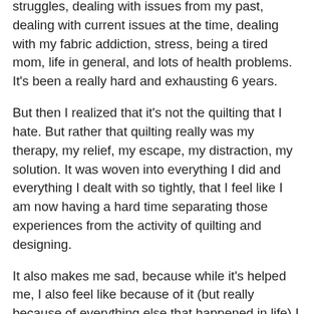struggles, dealing with issues from my past, dealing with current issues at the time, dealing with my fabric addiction, stress, being a tired mom, life in general, and lots of health problems. It's been a really hard and exhausting 6 years.
But then I realized that it's not the quilting that I hate. But rather that quilting really was my therapy, my relief, my escape, my distraction, my solution. It was woven into everything I did and everything I dealt with so tightly, that I feel like I am now having a hard time separating those experiences from the activity of quilting and designing.
It also makes me sad, because while it's helped me, I also feel like because of it (but really because of everything else that happened in life) I missed out on a lot of life. I feel like I missed out on my kids being little. I feel like I missed out on friendships and relationships. I definitely missed out on sleep and being healthy and taking care of myself.
But now, for the first time, I feel free from this. I feel free from everything. It's a miracle and a blessing, and I find that I am really really tired, and as much as I want to enjoy it, and